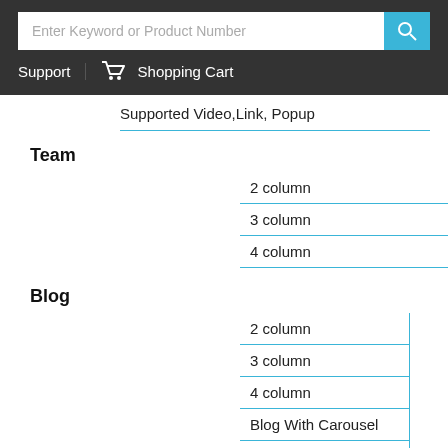Enter Keyword or Product Number | Support | Shopping Cart
Supported Video,Link, Popup
Team
2 column
3 column
4 column
Blog
2 column
3 column
4 column
Blog With Carousel
Blog Without Carousel
Blog Without Sidebar
Blog Right Sidebar
Blog Left Sidebar
Blog Both Sidebar